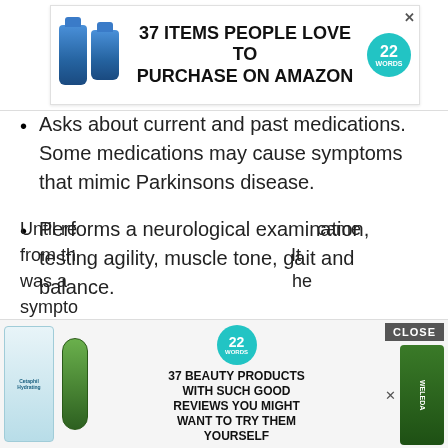[Figure (infographic): Advertisement banner: 37 ITEMS PEOPLE LOVE TO PURCHASE ON AMAZON with two blue bottles and a teal 22 Words badge with close X button]
Asks about current and past medications. Some medications may cause symptoms that mimic Parkinsons disease.
Performs a neurological examination, testing agility, muscle tone, gait and balance.
New Diagnostic Standards For Parkinsons
Until re[cent guidelines] came from th[e...] It was a [...] he sympto[ms...]
[Figure (infographic): Advertisement banner: 37 BEAUTY PRODUCTS WITH SUCH GOOD REVIEWS YOU MIGHT WANT TO TRY THEM YOURSELF with Cetaphil and Weleda products and 22 Words badge, with CLOSE button]